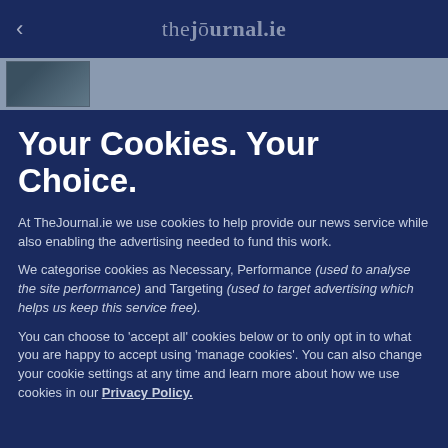< thejournal.ie
[Figure (photo): Thumbnail image strip showing a partial photo]
Your Cookies. Your Choice.
At TheJournal.ie we use cookies to help provide our news service while also enabling the advertising needed to fund this work.
We categorise cookies as Necessary, Performance (used to analyse the site performance) and Targeting (used to target advertising which helps us keep this service free).
You can choose to 'accept all' cookies below or to only opt in to what you are happy to accept using 'manage cookies'. You can also change your cookie settings at any time and learn more about how we use cookies in our Privacy Policy.